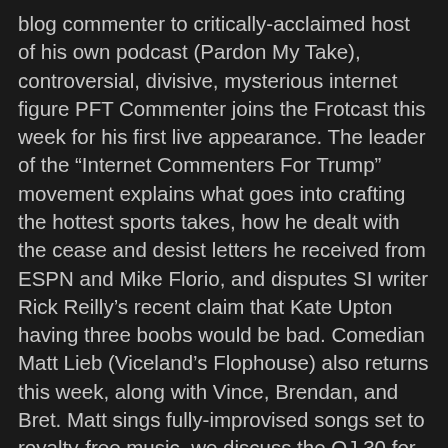blog commenter to critically-acclaimed host of his own podcast (Pardon My Take), controversial, divisive, mysterious internet figure PFT Commenter joins the Frotcast this week for his first live appearance. The leader of the “Internet Commenters For Trump” movement explains what goes into crafting the hottest sports takes, how he dealt with the cease and desist letters he received from ESPN and Mike Florio, and disputes SI writer Rick Reilly’s recent claim that Kate Upton having three boobs would be bad. Comedian Matt Lieb (Viceland’s Flophouse) also returns this week, along with Vince, Brendan, and Bret. Matt sings fully-improvised songs set to royalty-free music, we discuss the OJ 30 for 30, and answer your emails. We also talk about Ice T and Body Count’s new cover of “Institutionalized,” and offer an abbreviated “Crystal Corner.” Enjoy.